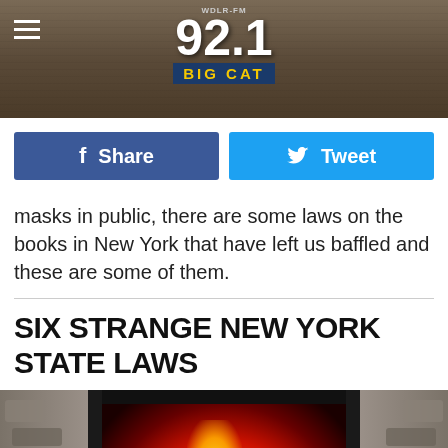[Figure (screenshot): WDLR-FM 92.1 Big Cat radio station header with wood background, hamburger menu icon on left, station logo in center]
[Figure (screenshot): Social share buttons row: blue Facebook Share button and light blue Twitter Tweet button]
masks in public, there are some laws on the books in New York that have left us baffled and these are some of them.
SIX STRANGE NEW YORK STATE LAWS
[Figure (photo): Fireplace with burning fire, stone surround, dark frame, with feet/socks visible at bottom left in foreground]